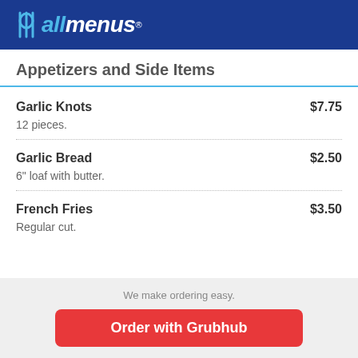allmenus
Appetizers and Side Items
Garlic Knots $7.75 — 12 pieces.
Garlic Bread $2.50 — 6" loaf with butter.
French Fries $3.50 — Regular cut.
We make ordering easy. Order with Grubhub